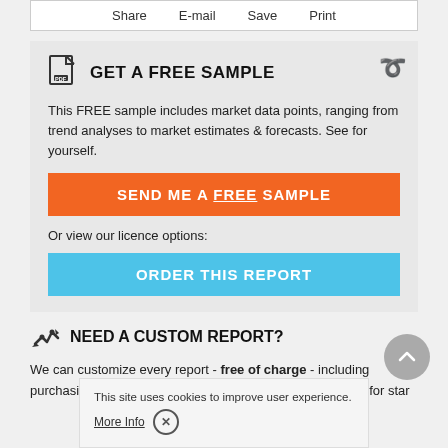Share   E-mail   Save   Print
GET A FREE SAMPLE
This FREE sample includes market data points, ranging from trend analyses to market estimates & forecasts. See for yourself.
SEND ME A FREE SAMPLE
Or view our licence options:
ORDER THIS REPORT
NEED A CUSTOM REPORT?
We can customize every report - free of charge - including purchasing stand-alone sections offer affordable discounts for star
Contact us now to get our best pricing.
This site uses cookies to improve user experience. More Info